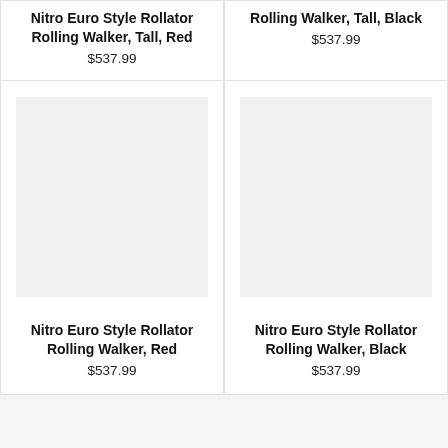Nitro Euro Style Rollator Rolling Walker, Tall, Red
$537.99
Rolling Walker, Tall, Black
$537.99
[Figure (photo): Product image placeholder - light gray box for Nitro Euro Style Rollator Rolling Walker, Red]
Nitro Euro Style Rollator Rolling Walker, Red
$537.99
[Figure (photo): Product image placeholder - light gray box for Nitro Euro Style Rollator Rolling Walker, Black]
Nitro Euro Style Rollator Rolling Walker, Black
$537.99